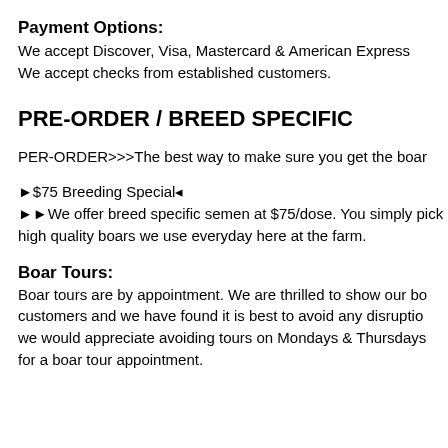Payment Options:
We accept Discover, Visa, Mastercard & American Express
We accept checks from established customers.
PRE-ORDER / BREED SPECIFIC
PER-ORDER>>>The best way to make sure you get the boar
▸$75 Breeding Special◂
▸▸We offer breed specific semen at $75/dose. You simply pick
high quality boars we use everyday here at the farm.
Boar Tours:
Boar tours are by appointment. We are thrilled to show our bo…
customers and we have found it is best to avoid any disruptio…
we would appreciate avoiding tours on Mondays & Thursdays
for a boar tour appointment.